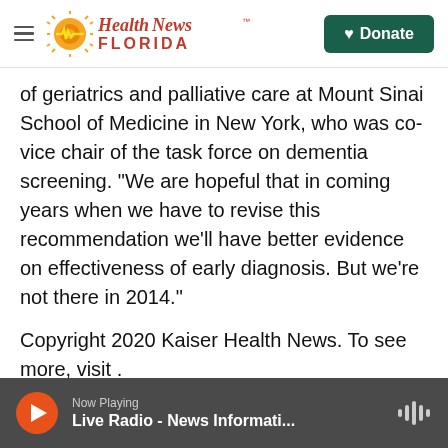Health News Florida — Donate
of geriatrics and palliative care at Mount Sinai School of Medicine in New York, who was co-vice chair of the task force on dementia screening. "We are hopeful that in coming years when we have to revise this recommendation we'll have better evidence on effectiveness of early diagnosis. But we're not there in 2014."
Copyright 2020 Kaiser Health News. To see more, visit .
NPR Health
Now Playing — Live Radio - News Informati...